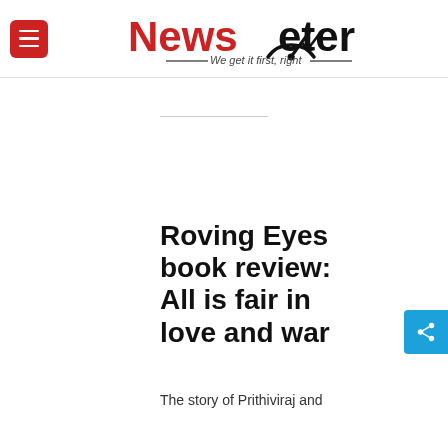NewsMeter — We get it first, right
Roving Eyes book review: All is fair in love and war
The story of Prithiviraj and